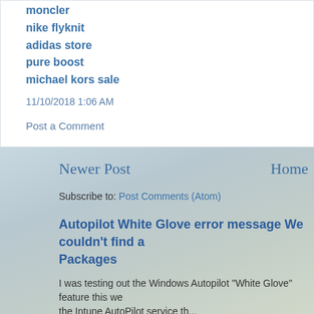moncler
nike flyknit
adidas store
pure boost
michael kors sale
11/10/2018 1:06 AM
Post a Comment
Newer Post
Home
Subscribe to: Post Comments (Atom)
Autopilot White Glove error message We couldn't find a Packages
I was testing out the Windows Autopilot "White Glove" feature this we the Intune AutoPilot service th...